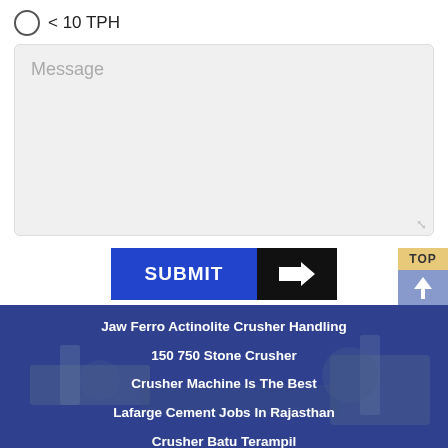< 10 TPH
Message
SUBMIT
TOP
Jaw Ferro Actinolite Crusher Handling
150 750 Stone Crusher
Crusher Machine Is The Best
Lafarge Cement Jobs In Rajasthan
Crusher Batu Terampil